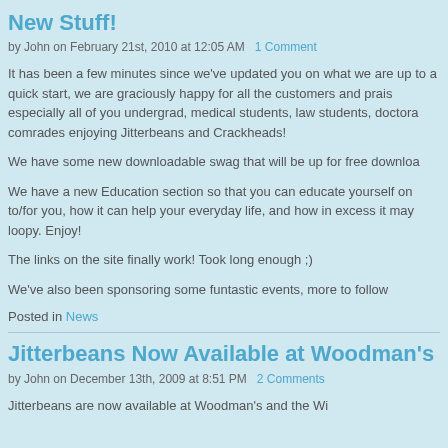New Stuff!
by John on February 21st, 2010 at 12:05 AM  1 Comment
It has been a few minutes since we've updated you on what we are up to a quick start, we are graciously happy for all the customers and praise especially all of you undergrad, medical students, law students, doctora comrades enjoying Jitterbeans and Crackheads!
We have some new downloadable swag that will be up for free downloa
We have a new Education section so that you can educate yourself on to/for you, how it can help your everyday life, and how in excess it may loopy. Enjoy!
The links on the site finally work! Took long enough ;)
We've also been sponsoring some funtastic events, more to follow
Posted in News
Jitterbeans Now Available at Woodman's Gr
by John on December 13th, 2009 at 8:51 PM  2 Comments
Jitterbeans...